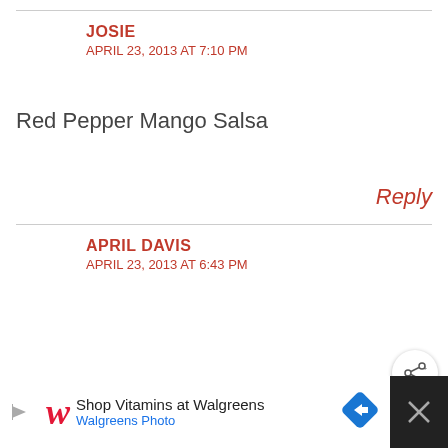JOSIE
APRIL 23, 2013 AT 7:10 PM
Red Pepper Mango Salsa
Reply
APRIL DAVIS
APRIL 23, 2013 AT 6:43 PM
[Figure (screenshot): Walgreens advertisement banner at bottom: Shop Vitamins at Walgreens / Walgreens Photo, with logo and navigation arrow icon. Right side black panel with X close button.]